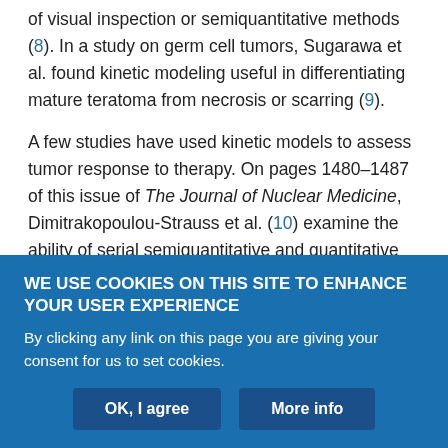of visual inspection or semiquantitative methods (8). In a study on germ cell tumors, Sugarawa et al. found kinetic modeling useful in differentiating mature teratoma from necrosis or scarring (9).
A few studies have used kinetic models to assess tumor response to therapy. On pages 1480–1487 of this issue of The Journal of Nuclear Medicine, Dimitrakopoulou-Strauss et al. (10) examine the ability of serial semiquantitative and quantitative dynamic 18F-FDG PET examinations to predict response to therapy as reflected by individual survival times of patients with colorectal cancer. Patients selected for the study failed to respond to first-line chemotherapy and were candidates for second-line chemotherapy (5-fluorouracil
WE USE COOKIES ON THIS SITE TO ENHANCE YOUR USER EXPERIENCE
By clicking any link on this page you are giving your consent for us to set cookies.